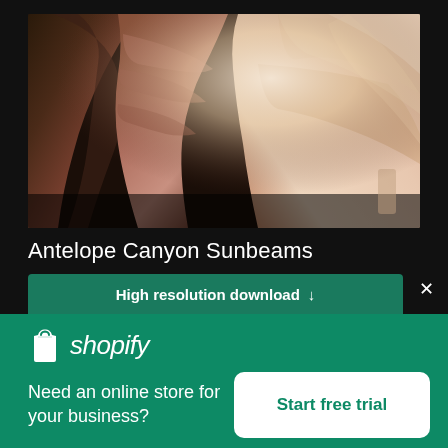[Figure (photo): Antelope Canyon with sunbeams streaming through narrow slot canyon walls, warm orange and pink sandstone rock formations]
Antelope Canyon Sunbeams
High resolution download ↓
[Figure (logo): Shopify logo — shopping bag icon and italic shopify wordmark in white]
Need an online store for your business?
Start free trial